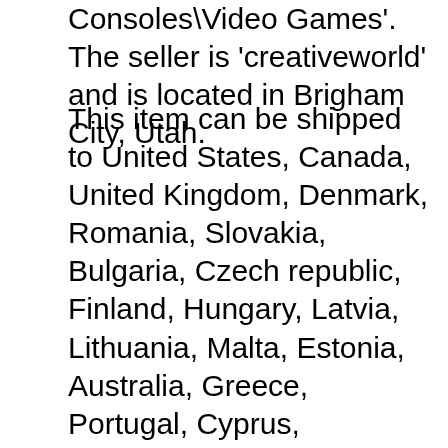Consoles\Video Games'. The seller is 'creativeworld' and is located in Brigham City, Utah.
This item can be shipped to United States, Canada, United Kingdom, Denmark, Romania, Slovakia, Bulgaria, Czech republic, Finland, Hungary, Latvia, Lithuania, Malta, Estonia, Australia, Greece, Portugal, Cyprus, Slovenia, Japan, Sweden, South Korea, Taiwan, South africa, Belgium, France, Ireland, Netherlands, Poland, Spain, Italy, Germany, Austria, Bahamas, Israel, Mexico, New Zealand, Singapore, Switzerland, Norway, Saudi arabia, Ukraine, United arab emirates, Qatar, Kuwait, Bahrain, Croatia, Malaysia, Chile, Colombia, Costa rica, Panama, Trinidad and tobago, Guatemala, Honduras, Jamaica, Antigua and barbuda, Aruba, Belize, Dominica, Grenada, Saint kitts and nevis, Saint lucia, Montserrat, Turks and caicos islands, Barbados, Bermuda, Brunei darussalam, Bolivia, French guiana, Guernsey, Gibraltar, Guadeloupe, Iceland, Jersey, Jordan, Cambodia, Cayman islands,